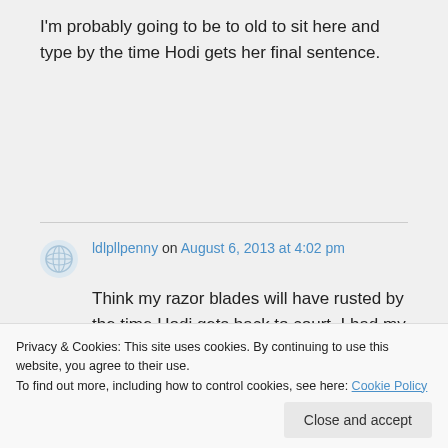I'm probably going to be to old to sit here and type by the time Hodi gets her final sentence.
ldlpllpenny on August 6, 2013 at 4:02 pm
Think my razor blades will have rusted by the time Hodi gets back to court. I had my pole and everything
Privacy & Cookies: This site uses cookies. By continuing to use this website, you agree to their use.
To find out more, including how to control cookies, see here: Cookie Policy